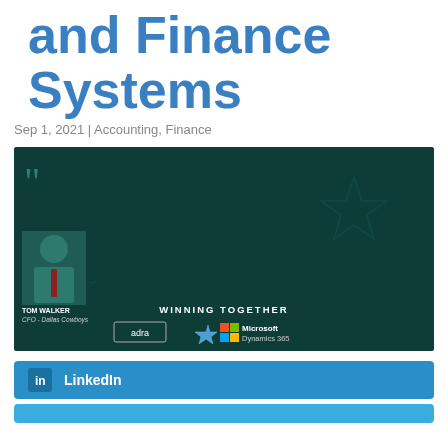and Finance Systems
Sep 1, 2021 | Accounting, Finance
[Figure (photo): Quote card with dark teal background. Tom Walker, CFO - Dallas Cowboys, quote: 'Another key factor in our decision was Adra's alignment with our technology strategy. While Adra is ERP-agnostic, Adra also provides the first and only financial close solution embedded in Microsoft Dynamics 365, enabling companies to close with confidence and automate their close process natively within Dynamics 365.' Logos: adra, Dallas Cowboys star, Microsoft Dynamics 365. Text: WINNING TOGETHER.]
LinkedIn